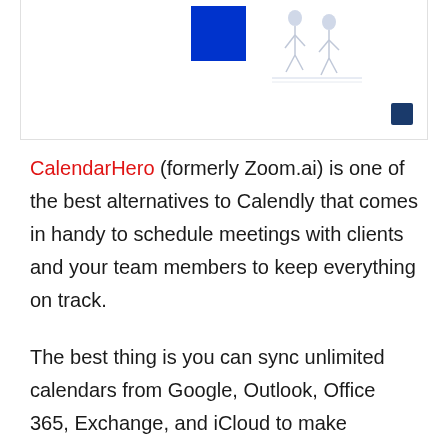[Figure (illustration): Top portion of a webpage showing a blue rectangle shape on the left and a walking figure illustration on the right, with a small dark blue square icon in the bottom-right corner of the image box.]
CalendarHero (formerly Zoom.ai) is one of the best alternatives to Calendly that comes in handy to schedule meetings with clients and your team members to keep everything on track.
The best thing is you can sync unlimited calendars from Google, Outlook, Office 365, Exchange, and iCloud to make bookings so clean. More than that, you'll be able to automate meeting